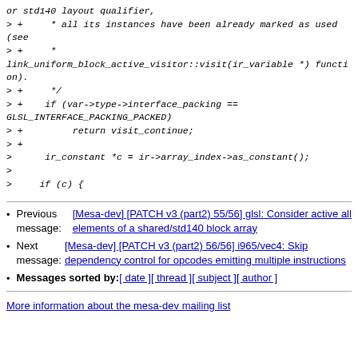or std140 layout qualifier,
> +     * all its instances have been already marked as used (see
> +     *
link_uniform_block_active_visitor::visit(ir_variable *) function).
> +     */
> +    if (var->type->interface_packing ==
GLSL_INTERFACE_PACKING_PACKED)
> +         return visit_continue;
> +
>      ir_constant *c = ir->array_index->as_constant();
>
>     if (c) {
Previous message: [Mesa-dev] [PATCH v3 (part2) 55/56] glsl: Consider active all elements of a shared/std140 block array
Next message: [Mesa-dev] [PATCH v3 (part2) 56/56] i965/vec4: Skip dependency control for opcodes emitting multiple instructions
Messages sorted by: [ date ] [ thread ] [ subject ] [ author ]
More information about the mesa-dev mailing list